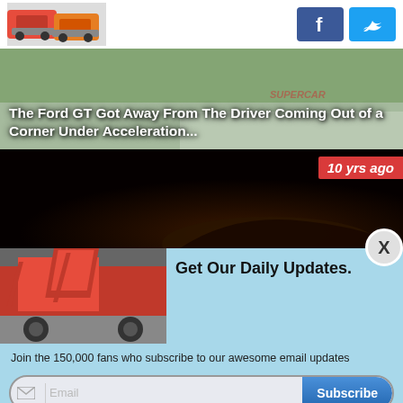[Figure (logo): Crashed cars logo image with red and orange cars]
[Figure (illustration): Facebook social media button (blue with f icon)]
[Figure (illustration): Twitter social media button (light blue with bird icon)]
[Figure (photo): Road scene hero image with car crash overlay text]
The Ford GT Got Away From The Driver Coming Out of a Corner Under Acceleration...
[Figure (screenshot): Dark video section with '10 yrs ago' red badge and partial car visible]
[Figure (photo): Red Lamborghini with doors open in popup ad]
Get Our Daily Updates.
Join the 150,000 fans who subscribe to our awesome email updates